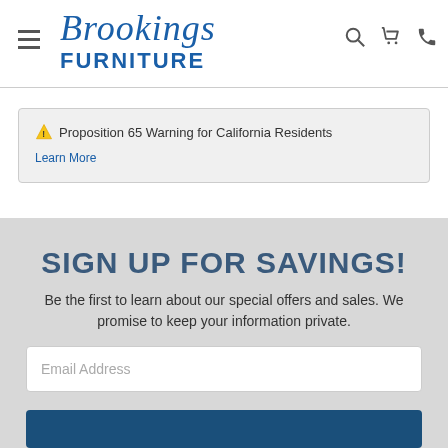[Figure (logo): Brookings Furniture logo with script and bold sans-serif text in blue]
⚠ Proposition 65 Warning for California Residents
Learn More
SIGN UP FOR SAVINGS!
Be the first to learn about our special offers and sales. We promise to keep your information private.